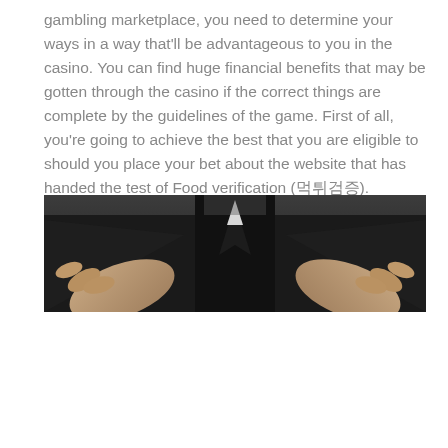gambling marketplace, you need to determine your ways in a way that'll be advantageous to you in the casino. You can find huge financial benefits that may be gotten through the casino if the correct things are complete by the guidelines of the game. First of all, you're going to achieve the best that you are eligible to should you place your bet about the website that has handed the test of Food verification (먹튀검증).
[Figure (photo): A person in a dark suit with hands outstretched toward the camera, shown from roughly chest level, against a dark background.]